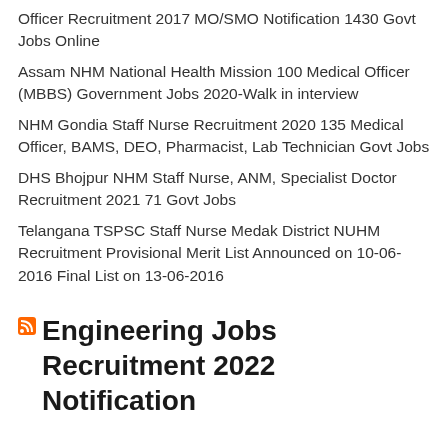Officer Recruitment 2017 MO/SMO Notification 1430 Govt Jobs Online
Assam NHM National Health Mission 100 Medical Officer (MBBS) Government Jobs 2020-Walk in interview
NHM Gondia Staff Nurse Recruitment 2020 135 Medical Officer, BAMS, DEO, Pharmacist, Lab Technician Govt Jobs
DHS Bhojpur NHM Staff Nurse, ANM, Specialist Doctor Recruitment 2021 71 Govt Jobs
Telangana TSPSC Staff Nurse Medak District NUHM Recruitment Provisional Merit List Announced on 10-06-2016 Final List on 13-06-2016
Engineering Jobs Recruitment 2022 Notification